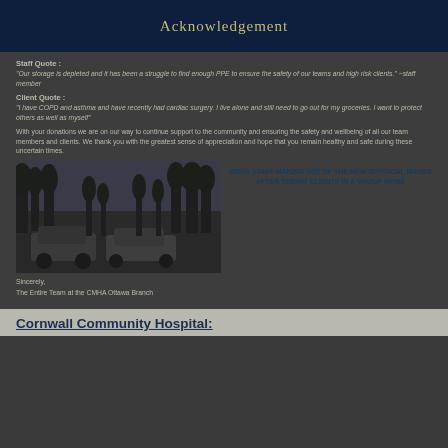Acknowledgement
Staff Quote
"Our storage is depleted and it has been a struggle to find enough PPE to ensure the safety of our teams and high risk clients." ~staff member
Client Quote :
"I have COPD and asthma and have recently had cardiac surgery. I live alone and still need to go out for my groceries. I want to protect others as well as myself"
With your donations we are on our way to continue support to the community and ensuring the safety and wellbeing of all our team members and clients. We thank you with the greatest sense of appreciation and hope that you remain healthy and safe during these uncertain times.
[Figure (photo): Outdoor scene with cars parked near trees, dark/winter setting]
CMHA STAFF MAKING USE OF THE NEW SURGICAL MASKS AFTER SEEING CLIENTS IN A GROUP HOME
Sincerely,
The Entire Team at the CMHA Ottawa Branch
Cornwall Community Hospital: